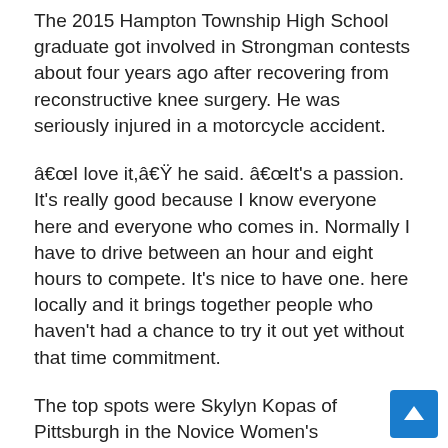The 2015 Hampton Township High School graduate got involved in Strongman contests about four years ago after recovering from reconstructive knee surgery. He was seriously injured in a motorcycle accident.
“I love it,” he said. “It’s a passion. It’s really good because I know everyone here and everyone who comes in. Normally I have to drive between an hour and eight hours to compete. It’s nice to have one. here locally and it brings together people who haven't had a chance to try it out yet without that time commitment.
The top spots were Skylyn Kopas of Pittsburgh in the Novice Women’s Lightweight Division, Kellie New of Michigan in the Women’s Open Middleweight, Karrie Ann David of Michigan in the Women’s Masters Division, Bo French of Michigan in the Novice Men’s Lightweight. , CJ Jasper of Pittsburgh in the Novice Heavyweight Men, Ray China of Pittsburgh in the Light Open Men, Cameron Peters of Fairmount City in the Middleweight Open Men, Joe Scrim of Youngstown in the
[Figure (other): Blue scroll-to-top button with upward arrow icon in bottom-right corner]